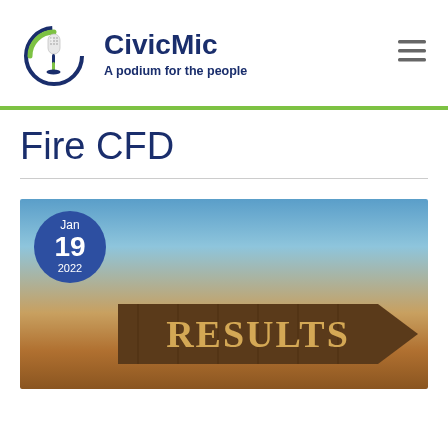[Figure (logo): CivicMic logo: circular microphone icon with green and dark blue colors]
CivicMic
A podium for the people
Fire CFD
[Figure (photo): A wooden directional sign with the word RESULTS on it, against a sunset sky background. A date badge shows Jan 19 2022.]